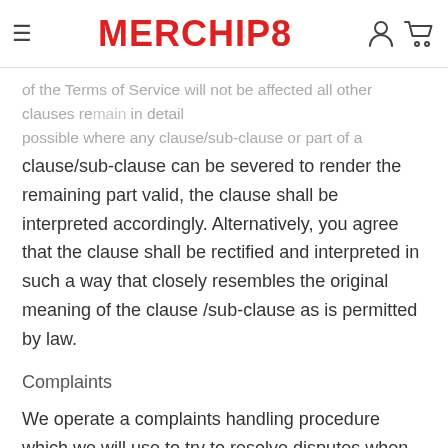MERCHIP8
of the Terms of Service will not be affected all other clauses remain in detail possible where any clause/sub-clause or part of a clause/sub-clause can be severed to render the remaining part valid, the clause shall be interpreted accordingly. Alternatively, you agree that the clause shall be rectified and interpreted in such a way that closely resembles the original meaning of the clause /sub-clause as is permitted by law.
Complaints
We operate a complaints handling procedure which we will use to try to resolve disputes when they first arise, please let us know if you have any complaints or comments.
Waiver